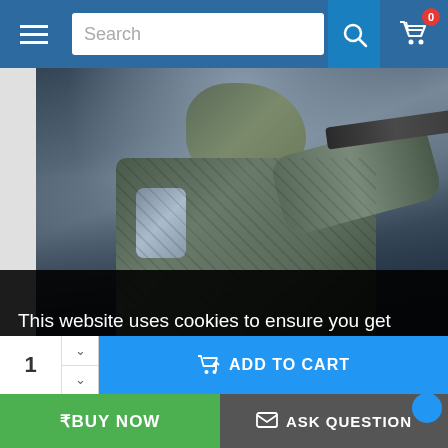[Figure (screenshot): Navigation bar with hamburger menu, search box, search button, and cart icon with badge showing 0]
[Figure (photo): Product image showing a soldier in camouflage military gear holding a rifle, dark moody background]
Close
This website uses cookies to ensure you get the best experience on our website.
1
ADD TO CART
₹BUY NOW
ASK QUESTION
ADD TO WISH LIST
COMPARE THIS PRODUCT